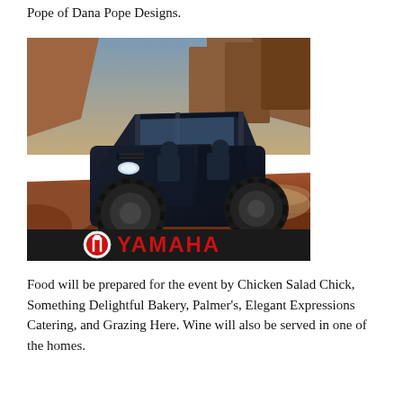Pope of Dana Pope Designs.
[Figure (photo): A dark blue Yamaha side-by-side UTV driving over red rock terrain in a desert canyon setting. The Yamaha logo appears in red text with a circular emblem on a dark banner at the bottom of the image.]
Food will be prepared for the event by Chicken Salad Chick, Something Delightful Bakery, Palmer's, Elegant Expressions Catering, and Grazing Here. Wine will also be served in one of the homes.